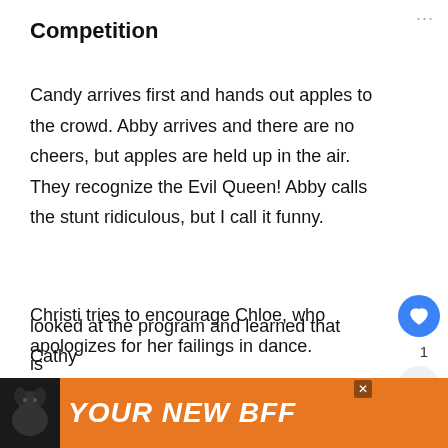Competition
Candy arrives first and hands out apples to the crowd. Abby arrives and there are no cheers, but apples are held up in the air. They recognize the Evil Queen! Abby calls the stunt ridiculous, but I call it funny.
Christi tries to encourage Chloe, who apologizes for her failings in dance. looked at the program and learned that Cathy is
[Figure (screenshot): BuddyTV 'What's Next' widget overlay with gray circle logo and blue text]
[Figure (photo): Orange advertisement banner at bottom reading 'YOUR NEW BFF' with a black dog image on left]